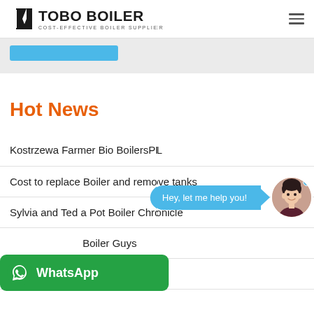TOBO BOILER — COST-EFFECTIVE BOILER SUPPLIER
Hot News
Kostrzewa Farmer Bio BoilersPL
Cost to replace Boiler and remove tanks
Sylvia and Ted a Pot Boiler Chronicle
Boiler Guys
Contact aryan Boilers